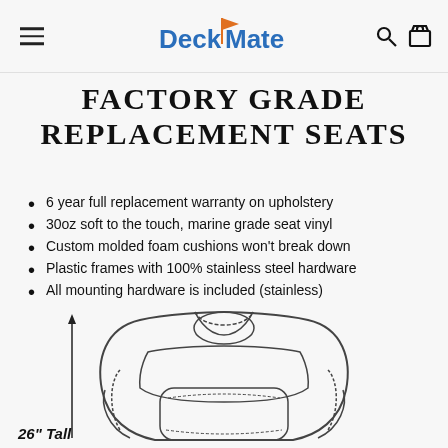DeckMate
FACTORY GRADE REPLACEMENT SEATS
6 year full replacement warranty on upholstery
30oz soft to the touch, marine grade seat vinyl
Custom molded foam cushions won't break down
Plastic frames with 100% stainless steel hardware
All mounting hardware is included (stainless)
[Figure (engineering-diagram): Line drawing diagram of a boat seat shown from front view with dimension arrow indicating 26 inches tall height. The seat has a rounded headrest, side bolsters, and a lower seat cushion area with stitching detail lines.]
26" Tall